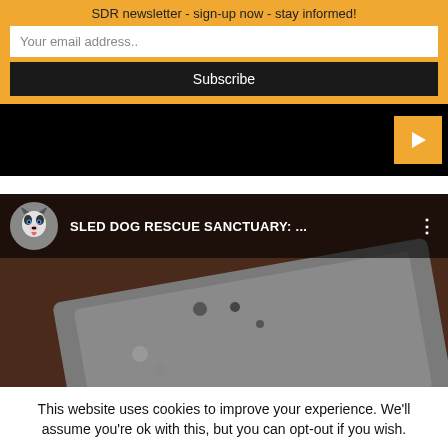SDR newsletter - sign-up now - stay informed!
Your email address..
Subscribe
[Figure (screenshot): Black video player area with an orange/gold play button (triangle) on the right side]
[Figure (screenshot): YouTube video thumbnail showing 'SLED DOG RESCUE SANCTUARY: ...' with a husky avatar icon, three-dot menu, and a dark metallic surface in the background]
This website uses cookies to improve your experience. We'll assume you're ok with this, but you can opt-out if you wish.
Accept
Reject
Read More